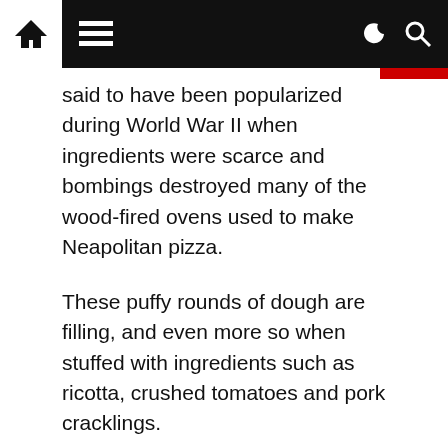Navigation bar with home icon, menu icon, dark/light mode toggle, and search icon
said to have been popularized during World War II when ingredients were scarce and bombings destroyed many of the wood-fired ovens used to make Neapolitan pizza.
These puffy rounds of dough are filling, and even more so when stuffed with ingredients such as ricotta, crushed tomatoes and pork cracklings.
Chimichangas (Southwest US)